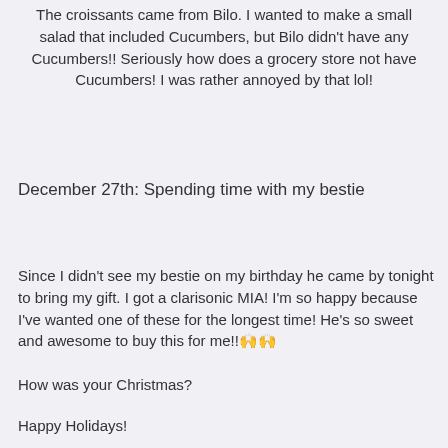The croissants came from Bilo. I wanted to make a small salad that included Cucumbers, but Bilo didn't have any Cucumbers!! Seriously how does a grocery store not have Cucumbers! I was rather annoyed by that lol!
December 27th: Spending time with my bestie
Since I didn't see my bestie on my birthday he came by tonight to bring my gift. I got a clarisonic MIA! I'm so happy because I've wanted one of these for the longest time! He's so sweet and awesome to buy this for me!!🙌🙌
How was your Christmas?
Happy Holidays!